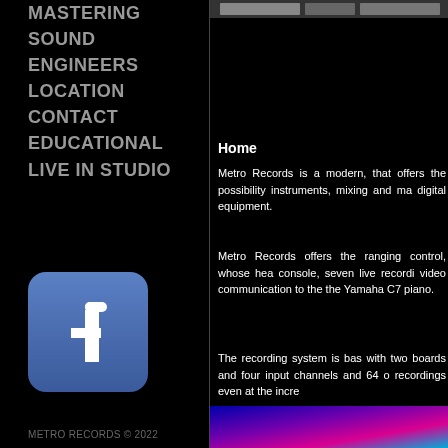MASTERING
SOUND
ENGINEERS
LOCATION
CONTACT
EDUCATIONAL
LIVE IN STUDIO
[Figure (logo): Facebook logo icon, blue rounded square with white 'f']
METRO RECORDS © 2022
[Figure (photo): Photo strip at top right, partially visible]
Home
Metro Records is a modern, that offers the possibility instruments, mixing and ma digital equipment.
Metro Records offers the ranging control, whose hea console, seven live recordi video communication to the the Yamaha C7 piano.
The recording system is bas with two boards and four input channels and 64 o recordings even at the incre
[Figure (photo): Colorful image strip at bottom right]